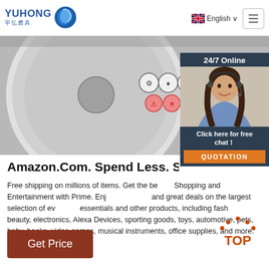[Figure (logo): Yuhong logo with Chinese characters 宇弘磨具 and a blue wave icon]
[Figure (screenshot): Navigation bar showing English language selector with UK flag and hamburger menu button]
[Figure (photo): Close-up photo of an abrasive cutting disc with safety symbols and specifications printed on it]
[Figure (photo): 24/7 Online widget showing a woman with headset and Click here for free chat / QUOTATION button]
Amazon.Com. Spend Less. Smile
Free shipping on millions of items. Get the best of Shopping and Entertainment with Prime. Enjoy low prices and great deals on the largest selection of everyday essentials and other products, including fashion, beauty, electronics, Alexa Devices, sporting goods, toys, automotive, pets, baby, books, video games, musical instruments, office supplies, and more.
[Figure (other): TOP back-to-top button with orange dot pattern arrow]
Get Price